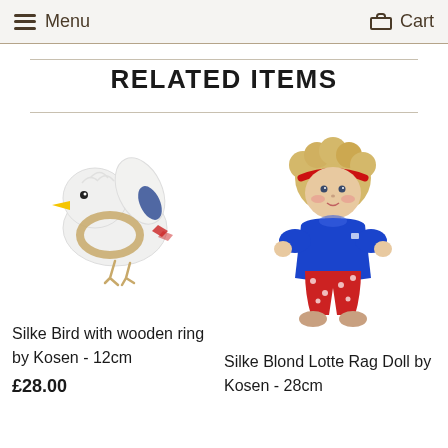Menu   Cart
RELATED ITEMS
[Figure (photo): Silke Bird with wooden ring toy by Kosen - a white fluffy bird-shaped rattle with yellow beak and blue/red accents, with a wooden ring]
Silke Bird with wooden ring by Kosen - 12cm
£28.00
[Figure (photo): Silke Blond Lotte Rag Doll by Kosen - 28cm, a soft doll with blonde hair, red headband, blue dress and red polka dot pants]
Silke Blond Lotte Rag Doll by Kosen - 28cm